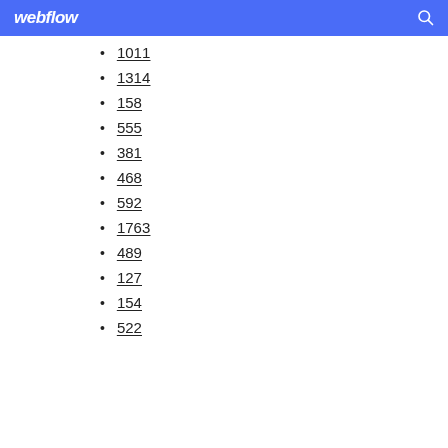webflow
1011
1314
158
555
381
468
592
1763
489
127
154
522